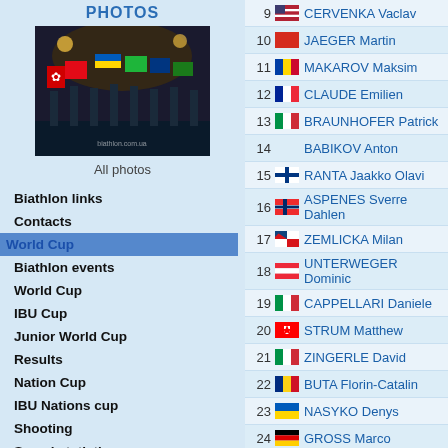PHOTOS
[Figure (photo): People holding national flags at a biathlon event at night, watermark biathlon.com.ua]
All photos
Biathlon links
Contacts
World Cup
Biathlon events
World Cup
IBU Cup
Junior World Cup
Results
Nation Cup
IBU Nations cup
Shooting
Speed statistics
| # | Flag | Name |
| --- | --- | --- |
| 9 | USA | CERVENKA Vaclav |
| 10 | SUI | JAEGER Martin |
| 11 | MDA | MAKAROV Maksim |
| 12 | FRA | CLAUDE Emilien |
| 13 | ITA | BRAUNHOFER Patrick |
| 14 |  | BABIKOV Anton |
| 15 | FIN | RANTA Jaakko Olavi |
| 16 | NOR | ASPENES Sverre Dahlen |
| 17 | CZE | ZEMLICKA Milan |
| 18 | AUT | UNTERWEGER Dominic |
| 19 | ITA | CAPPELLARI Daniele |
| 20 | CAN | STRUM Matthew |
| 21 | ITA | ZINGERLE David |
| 22 | ROU | BUTA Florin-Catalin |
| 23 | UKR | NASYKO Denys |
| 24 | GER | GROSS Marco |
| 25 | SWE | NYKVIST Emil |
| 26 | USA | DURTSCHI Max |
| 27 | SUI | WIESTNER Serafin |
| 28 | SWE | BRANDT Victor |
| 29 | GER | DONHAUSER Johannes Werner |
| 30 | UKR | DOTSENKO Andriy |